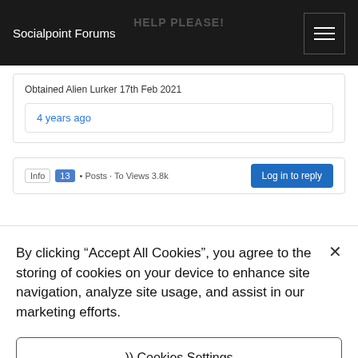Socialpoint Forums
HELP PLEASE!
Obtained Alien Lurker 17th Feb 2021
4 years ago
By clicking “Accept All Cookies”, you agree to the storing of cookies on your device to enhance site navigation, analyze site usage, and assist in our marketing efforts.
)) Cookies Settings
Accept All Cookies